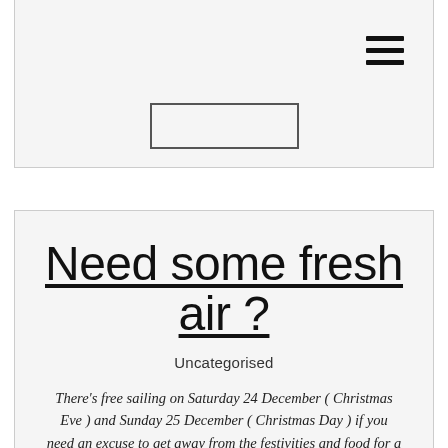[Figure (other): Hamburger menu icon (three horizontal lines) in top-right corner]
[Figure (other): Top card section with a bordered rectangle element, partially visible]
Need some fresh air ?
Uncategorised
There's free sailing on Saturday 24 December ( Christmas Eve ) and Sunday 25 December ( Christmas Day ) if you need an excuse to get away from the festivities and food for a while. There needs to be two boats on the water as there is no safety cover. Come on – you know it makes..